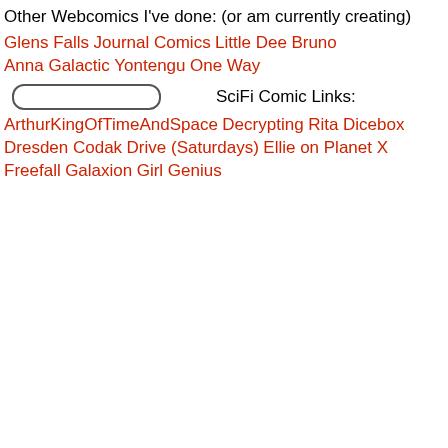Other Webcomics I've done:
(or am currently creating)
Glens Falls
Journal Comics
Little Dee
Bruno
Anna Galactic
Yontengu
One Way
SciFi Comic Links:
ArthurKingOfTimeAndSpace
Decrypting Rita
Dicebox
Dresden Codak
Drive (Saturdays)
Ellie on Planet X
Freefall
Galaxion
Girl Genius